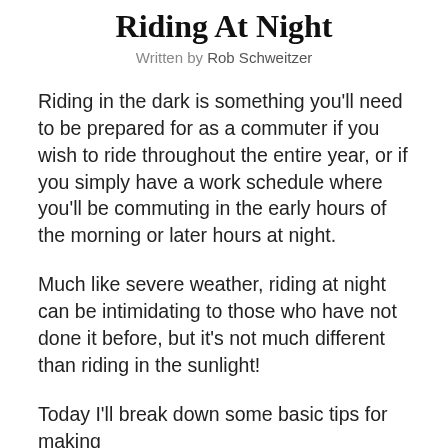Riding At Night
Written by Rob Schweitzer
Riding in the dark is something you'll need to be prepared for as a commuter if you wish to ride throughout the entire year, or if you simply have a work schedule where you'll be commuting in the early hours of the morning or later hours at night.
Much like severe weather, riding at night can be intimidating to those who have not done it before, but it's not much different than riding in the sunlight!
Today I'll break down some basic tips for making